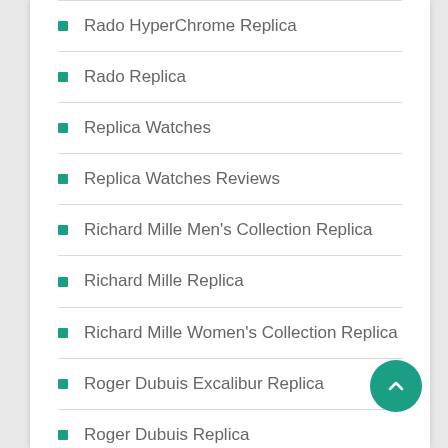Rado HyperChrome Replica
Rado Replica
Replica Watches
Replica Watches Reviews
Richard Mille Men's Collection Replica
Richard Mille Replica
Richard Mille Women's Collection Replica
Roger Dubuis Excalibur Replica
Roger Dubuis Replica
Roger Dubuis Replica (partial)